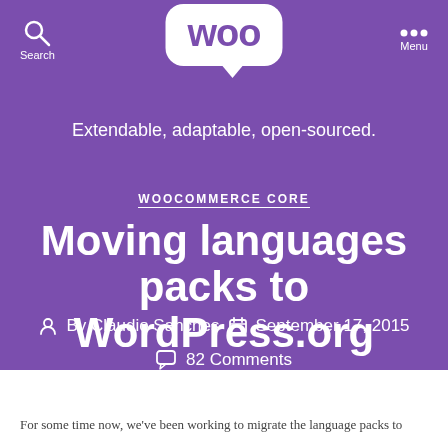Woo — Extendable, adaptable, open-sourced.
WOOCOMMERCE CORE
Moving languages packs to WordPress.org
By Claudio Sanches   September 17, 2015
82 Comments